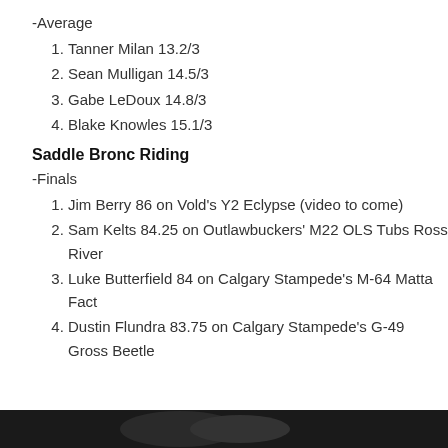-Average
1. Tanner Milan 13.2/3
2. Sean Mulligan 14.5/3
3. Gabe LeDoux 14.8/3
4. Blake Knowles 15.1/3
Saddle Bronc Riding
-Finals
1. Jim Berry 86 on Vold's Y2 Eclypse (video to come)
2. Sam Kelts 84.25 on Outlawbuckers' M22 OLS Tubs Ross River
3. Luke Butterfield 84 on Calgary Stampede's M-64 Matta Fact
4. Dustin Flundra 83.75 on Calgary Stampede's G-49 Gross Beetle
[Figure (photo): Dark photo strip at bottom of page]